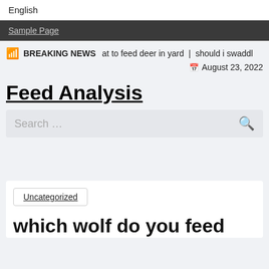English
Sample Page
BREAKING NEWS  at to feed deer in yard | should i swaddl
August 23, 2022
Feed Analysis
Search …
Uncategorized
which wolf do you feed